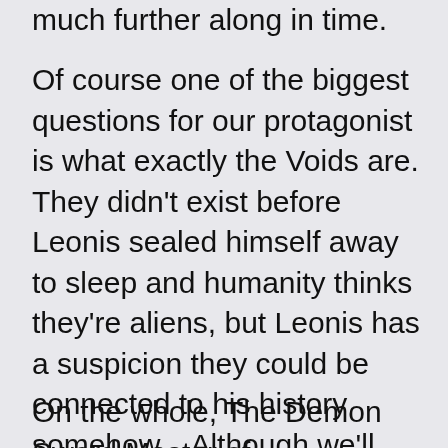much further along in time.
Of course one of the biggest questions for our protagonist is what exactly the Voids are. They didn't exist before Leonis sealed himself away to sleep and humanity thinks they're aliens, but Leonis has a suspicion they could be connected to his history somehow... Although we'll have to wait a little longer to find out how, as the series doesn't seem particularly interested in giving us all the answers right now.
On the whole, The Demon Sword Master of